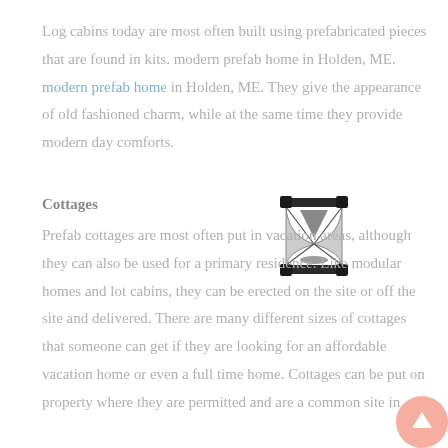Log cabins today are most often built using prefabricated pieces that are found in kits. modern prefab home in Holden, ME. modern prefab home in Holden, ME. They give the appearance of old fashioned charm, while at the same time they provide modern day comforts.
Cottages
[Figure (illustration): An hourglass icon/image centered in the page near the Cottages section header]
Prefab cottages are most often put in vacation areas, although they can also be used for a primary residence. Like modular homes and lot cabins, they can be erected on the site or off the site and delivered. There are many different sizes of cottages that someone can get if they are looking for an affordable vacation home or even a full time home. Cottages can be put on property where they are permitted and are a common site in